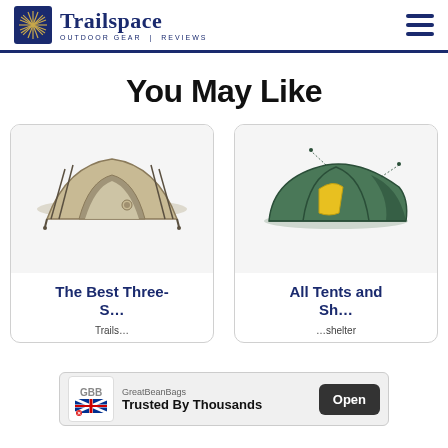Trailspace — OUTDOOR GEAR REVIEWS
You May Like
[Figure (photo): Tan/olive dome-style backpacking tent with poles and no rainfly, viewed from front]
[Figure (photo): Green tunnel-style backpacking tent with yellow accent patch, viewed from front-side angle]
The Best Three-S...
All Tents and Shelter...
Trails...
...shelter